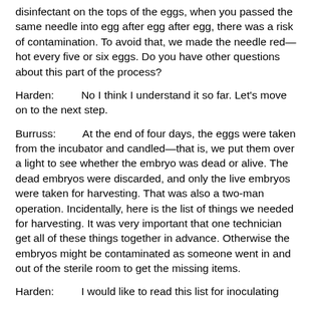disinfectant on the tops of the eggs, when you passed the same needle into egg after egg after egg, there was a risk of contamination. To avoid that, we made the needle red—hot every five or six eggs. Do you have other questions about this part of the process?
Harden:        No I think I understand it so far. Let's move on to the next step.
Burruss:        At the end of four days, the eggs were taken from the incubator and candled—that is, we put them over a light to see whether the embryo was dead or alive. The dead embryos were discarded, and only the live embryos were taken for harvesting. That was also a two-man operation. Incidentally, here is the list of things we needed for harvesting. It was very important that one technician get all of these things together in advance. Otherwise the embryos might be contaminated as someone went in and out of the sterile room to get the missing items.
Harden:        I would like to read this list for inoculating